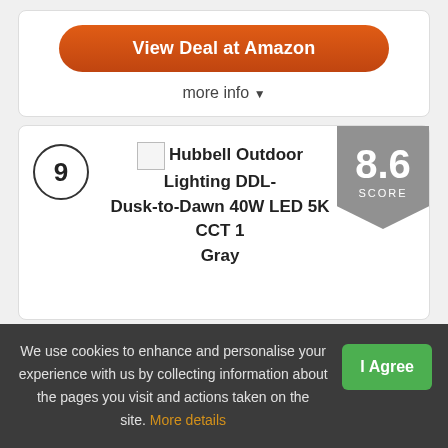View Deal at Amazon
more info ▾
9
Hubbell Outdoor Lighting DDL- Dusk-to-Dawn 40W LED 5K CCT 1 Gray
8.6 SCORE
We use cookies to enhance and personalise your experience with us by collecting information about the pages you visit and actions taken on the site. More details
I Agree